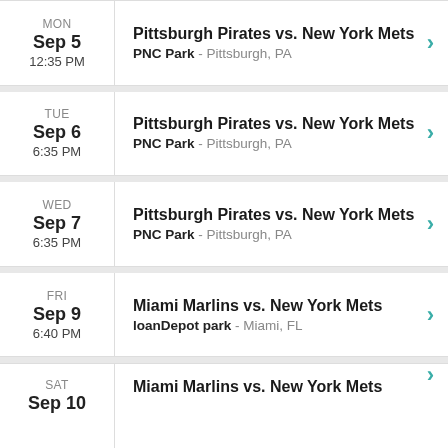MON Sep 5 12:35 PM — Pittsburgh Pirates vs. New York Mets — PNC Park - Pittsburgh, PA
TUE Sep 6 6:35 PM — Pittsburgh Pirates vs. New York Mets — PNC Park - Pittsburgh, PA
WED Sep 7 6:35 PM — Pittsburgh Pirates vs. New York Mets — PNC Park - Pittsburgh, PA
FRI Sep 9 6:40 PM — Miami Marlins vs. New York Mets — loanDepot park - Miami, FL
SAT Sep 10 — Miami Marlins vs. New York Mets